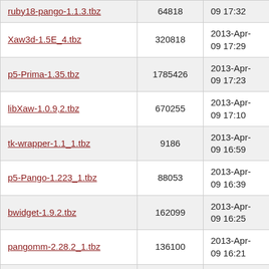| ruby18-pango-1.1.3.tbz | 64818 | 09 17:32 |
| Xaw3d-1.5E_4.tbz | 320818 | 2013-Apr-09 17:29 |
| p5-Prima-1.35.tbz | 1785426 | 2013-Apr-09 17:23 |
| libXaw-1.0.9,2.tbz | 670255 | 2013-Apr-09 17:10 |
| tk-wrapper-1.1_1.tbz | 9186 | 2013-Apr-09 16:59 |
| p5-Pango-1.223_1.tbz | 88053 | 2013-Apr-09 16:39 |
| bwidget-1.9.2.tbz | 162099 | 2013-Apr-09 16:25 |
| pangomm-2.28.2_1.tbz | 136100 | 2013-Apr-09 16:21 |
| pango-1.28.4_1.tbz | 607663 | 2013-Apr-09 16:19 |
| tix-8.4.3_1.tbz | 344587 | 2013-Apr-09 16:17 |
| py27-Pmw-1.3.2_1.tbz | 402748 | 2013-Apr-09 15:22 |
| blt-2.4z_7.tbz | 2003555 | 2013-Apr- |